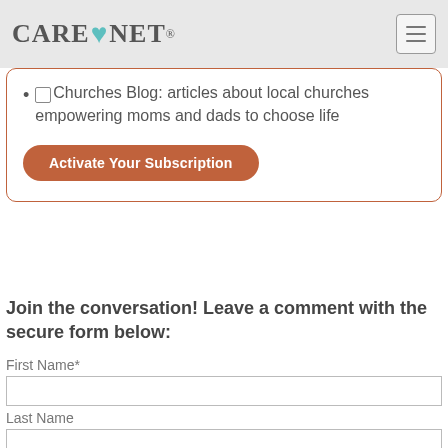Care Net
Churches Blog: articles about local churches empowering moms and dads to choose life
Activate Your Subscription
Join the conversation! Leave a comment with the secure form below:
First Name*
Last Name
Email*